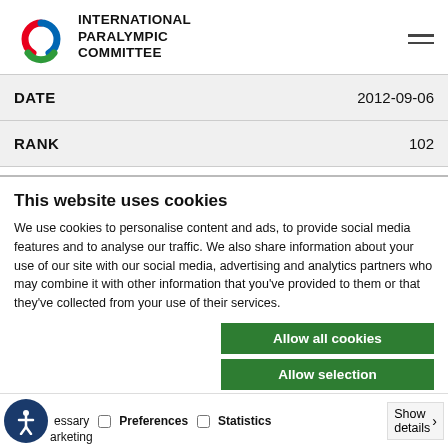[Figure (logo): International Paralympic Committee logo with agitos symbol (red, blue, green arcs) and bold text INTERNATIONAL PARALYMPIC COMMITTEE]
| DATE | 2012-09-06 |
| RANK | 102 |
This website uses cookies
We use cookies to personalise content and ads, to provide social media features and to analyse our traffic. We also share information about your use of our site with our social media, advertising and analytics partners who may combine it with other information that you've provided to them or that they've collected from your use of their services.
Allow all cookies
Allow selection
Use necessary cookies on
essary   Preferences   Statistics   Show details
Marketing